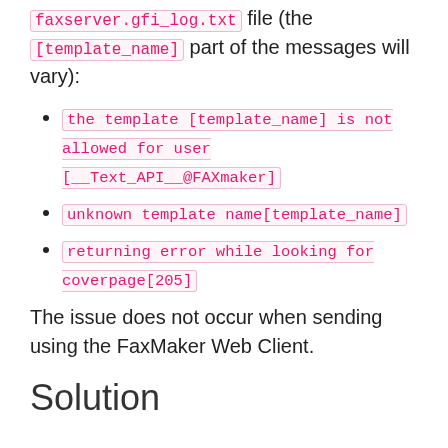faxserver.gfi_log.txt file (the [template_name] part of the messages will vary):
the template [template_name] is not allowed for user [__Text_API__@FAXmaker]
unknown template name[template_name]
returning error while looking for coverpage[205]
The issue does not occur when sending using the FaxMaker Web Client.
Solution